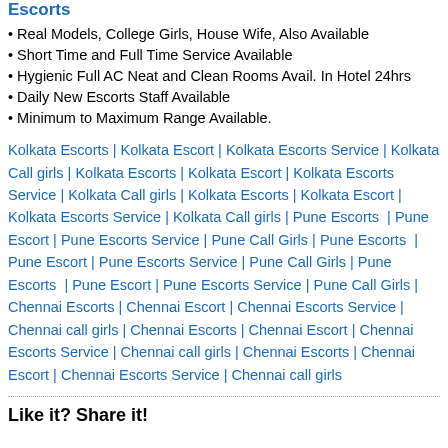Escorts
Real Models, College Girls, House Wife, Also Available
Short Time and Full Time Service Available
Hygienic Full AC Neat and Clean Rooms Avail. In Hotel 24hrs
Daily New Escorts Staff Available
Minimum to Maximum Range Available.
Kolkata Escorts | Kolkata Escort | Kolkata Escorts Service | Kolkata Call girls | Kolkata Escorts | Kolkata Escort | Kolkata Escorts Service | Kolkata Call girls | Kolkata Escorts | Kolkata Escort | Kolkata Escorts Service | Kolkata Call girls | Pune Escorts | Pune Escort | Pune Escorts Service | Pune Call Girls | Pune Escorts | Pune Escort | Pune Escorts Service | Pune Call Girls | Pune Escorts | Pune Escort | Pune Escorts Service | Pune Call Girls | Chennai Escorts | Chennai Escort | Chennai Escorts Service | Chennai call girls | Chennai Escorts | Chennai Escort | Chennai Escorts Service | Chennai call girls | Chennai Escorts | Chennai Escort | Chennai Escorts Service | Chennai call girls
Like it? Share it!